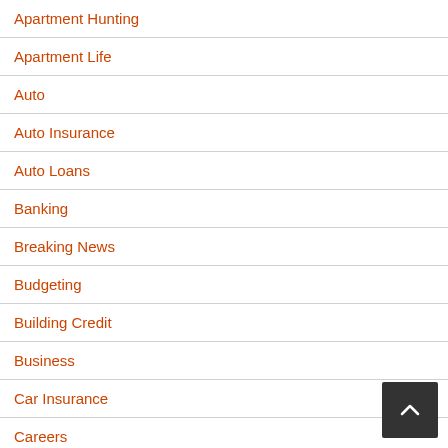Apartment Hunting
Apartment Life
Auto
Auto Insurance
Auto Loans
Banking
Breaking News
Budgeting
Building Credit
Business
Car Insurance
Careers
Cash Back
Celebrity Homes